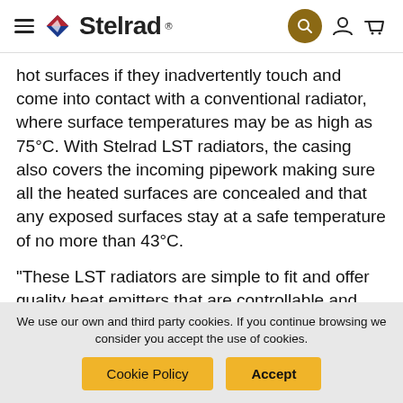[Figure (logo): Stelrad logo with diamond icon and hamburger menu, plus search, account and cart icons]
hot surfaces if they inadvertently touch and come into contact with a conventional radiator, where surface temperatures may be as high as 75°C. With Stelrad LST radiators, the casing also covers the incoming pipework making sure all the heated surfaces are concealed and that any exposed surfaces stay at a safe temperature of no more than 43°C.
“These LST radiators are simple to fit and offer quality heat emitters that are controllable and effective in a building such as this,” says Phil Houghton from Aspect Plumbing and Heating. “We
We use our own and third party cookies. If you continue browsing we consider you accept the use of cookies.
Cookie Policy
Accept